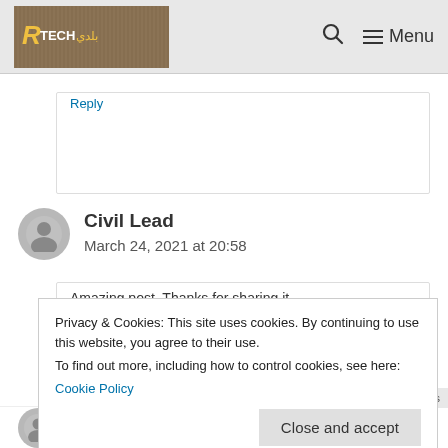TECH — Menu
Reply
Civil Lead
March 24, 2021 at 20:58
Amazing post. Thanks for sharing it
Privacy & Cookies: This site uses cookies. By continuing to use this website, you agree to their use.
To find out more, including how to control cookies, see here:
Cookie Policy
Close and accept
Privacy · Terms
warwal Blog